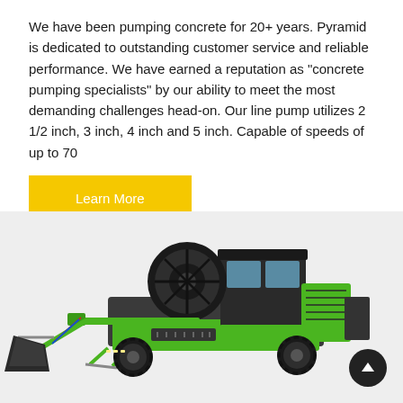We have been pumping concrete for 20+ years. Pyramid is dedicated to outstanding customer service and reliable performance. We have earned a reputation as "concrete pumping specialists" by our ability to meet the most demanding challenges head-on. Our line pump utilizes 2 1/2 inch, 3 inch, 4 inch and 5 inch. Capable of speeds of up to 70
Learn More
[Figure (photo): A green and black concrete line pump machine (self-propelled mixer/pump unit) with a front loading bucket, hose reel, and operator cab, photographed on a light gray background.]